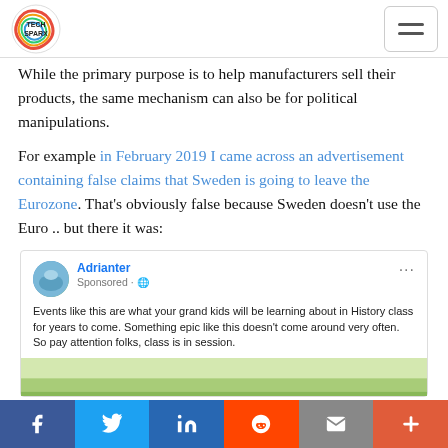TechSparx logo and navigation menu
While the primary purpose is to help manufacturers sell their products, the same mechanism can also be for political manipulations.
For example in February 2019 I came across an advertisement containing false claims that Sweden is going to leave the Eurozone. That's obviously false because Sweden doesn't use the Euro .. but there it was:
[Figure (screenshot): Screenshot of a Facebook sponsored post by 'Adrianter' that reads: 'Events like this are what your grand kids will be learning about in History class for years to come. Something epic like this doesn't come around very often. So pay attention folks, class is in session.' with a partial image below.]
f  Twitter  in  Reddit  mail  +